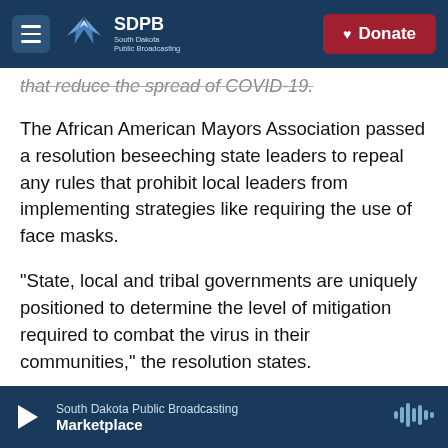SDPB South Dakota Public Broadcasting | Donate
that reduce the spread of COVID-19.
The African American Mayors Association passed a resolution beseeching state leaders to repeal any rules that prohibit local leaders from implementing strategies like requiring the use of face masks.
"State, local and tribal governments are uniquely positioned to determine the level of mitigation required to combat the virus in their communities," the resolution states.
"The African American Mayors Association deems coordination amongst state and local jurisdictions
South Dakota Public Broadcasting | Marketplace